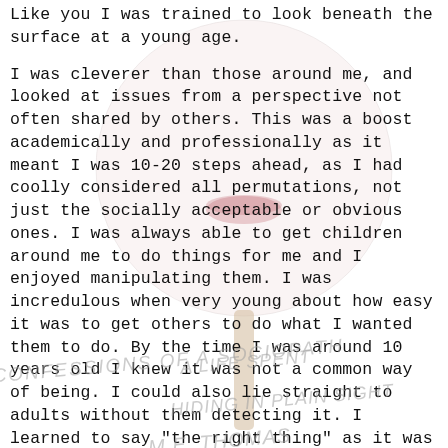Like you I was trained to look beneath the surface at a young age.

I was cleverer than those around me, and looked at issues from a perspective not often shared by others. This was a boost academically and professionally as it meant I was 10-20 steps ahead, as I had coolly considered all permutations, not just the socially acceptable or obvious ones. I was always able to get children around me to do things for me and I enjoyed manipulating them. I was incredulous when very young about how easy it was to get others to do what I wanted them to do. By the time I was around 10 years old I knew it was not a common way of being. I could also lie straight to adults without them detecting it. I learned to say "the right thing" as it was always too easy to work out what people wanted. I had a slew of aunts who loved hearing I wanted to be
[Figure (illustration): A lollipop or doll face on a stick, showing a face with lips, overlaid behind the text as a faded background image. Watermark text reading 'CONFESSIONS OF A SOCIOPATH' and 'A LIFE SPENT HIDING IN PLAIN SIGHT' and 'M.E. THOMAS' appears across the image in italic gray text.]